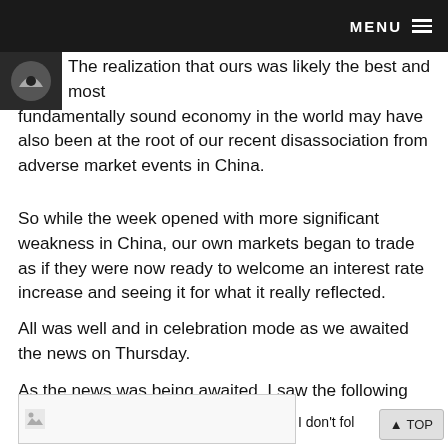MENU
The realization that ours was likely the best and most fundamentally sound economy in the world may have also been at the root of our recent disassociation from adverse market events in China.
So while the week opened with more significant weakness in China, our own markets began to trade as if they were now ready to welcome an interest rate increase and seeing it for what it really reflected.
All was well and in celebration mode as we awaited the news on Thursday.
As the news was being awaited, I saw the following Tweet.
[Figure (screenshot): Broken image placeholder for an embedded tweet image]
I don't follow m
TOP